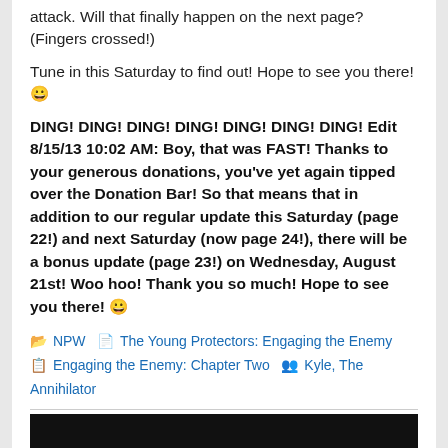attack. Will that finally happen on the next page? (Fingers crossed!)
Tune in this Saturday to find out! Hope to see you there! 😀
DING! DING! DING! DING! DING! DING! DING! Edit 8/15/13 10:02 AM: Boy, that was FAST! Thanks to your generous donations, you've yet again tipped over the Donation Bar! So that means that in addition to our regular update this Saturday (page 22!) and next Saturday (now page 24!), there will be a bonus update (page 23!) on Wednesday, August 21st! Woo hoo! Thank you so much! Hope to see you there! 😀
NPW  The Young Protectors: Engaging the Enemy  Engaging the Enemy: Chapter Two  Kyle, The Annihilator
[Figure (other): Black bar at bottom of page (video/image placeholder)]